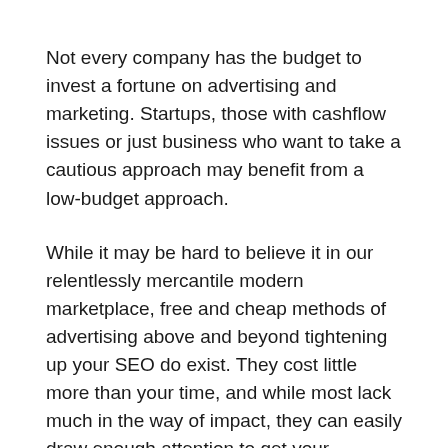Not every company has the budget to invest a fortune on advertising and marketing. Startups, those with cashflow issues or just business who want to take a cautious approach may benefit from a low-budget approach.
While it may be hard to believe it in our relentlessly mercantile modern marketplace, free and cheap methods of advertising above and beyond tightening up your SEO do exist. They cost little more than your time, and while most lack much in the way of impact, they can easily draw enough attention to get your company's name in the heads of prospective buyers, providing a good Return on Investment (ROI) for time spent. If nothing else, these marketing methods will hold